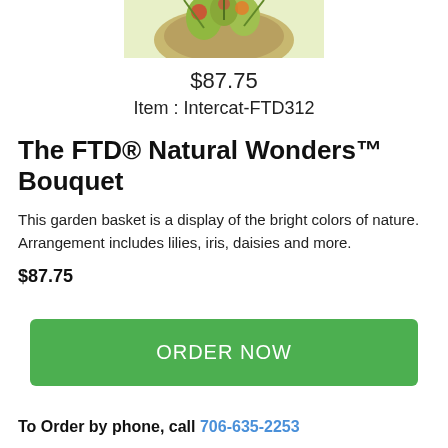[Figure (photo): Partial view of a flower bouquet in a basket, cropped at the top of the page.]
$87.75
Item : Intercat-FTD312
The FTD® Natural Wonders™ Bouquet
This garden basket is a display of the bright colors of nature. Arrangement includes lilies, iris, daisies and more.
$87.75
[Figure (other): Green ORDER NOW button]
To Order by phone, call 706-635-2253